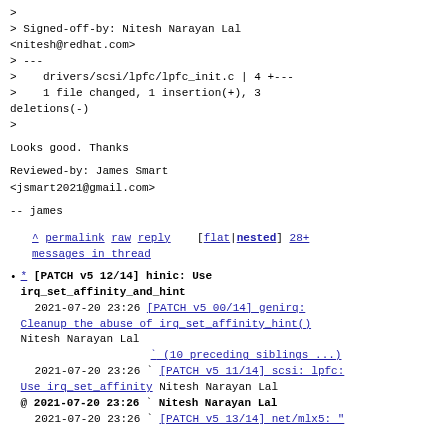>
> Signed-off-by: Nitesh Narayan Lal <nitesh@redhat.com>
> ---
>    drivers/scsi/lpfc/lpfc_init.c | 4 +---
>    1 file changed, 1 insertion(+), 3 deletions(-)
>
Looks good. Thanks
Reviewed-by: James Smart <jsmart2021@gmail.com>
-- james
^ permalink raw reply [flat|nested] 28+ messages in thread
* [PATCH v5 12/14] hinic: Use irq_set_affinity_and_hint
2021-07-20 23:26 [PATCH v5 00/14] genirq: Cleanup the abuse of irq_set_affinity_hint() Nitesh Narayan Lal
(10 preceding siblings ...)
2021-07-20 23:26 ` [PATCH v5 11/14] scsi: lpfc: Use irq_set_affinity Nitesh Narayan Lal
@ 2021-07-20 23:26 ` Nitesh Narayan Lal
2021-07-20 23:26 ` [PATCH v5 13/14] net/mlx5: "